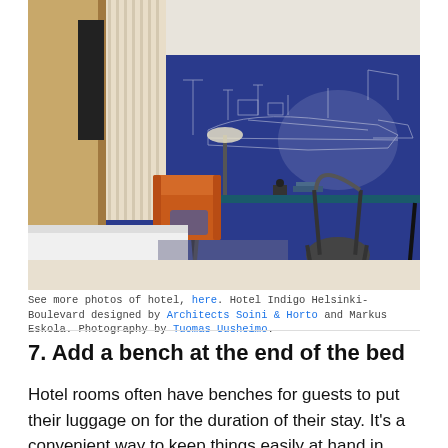[Figure (photo): Hotel room interior with a bed in the foreground, an orange armchair, a desk and dark metal chair, and a blue wall with a white ship blueprint mural. Beige curtains and wooden wardrobe visible on the left.]
See more photos of hotel, here. Hotel Indigo Helsinki-Boulevard designed by Architects Soini & Horto and Markus Eskola. Photography by Tuomas Uusheimo.
7. Add a bench at the end of the bed
Hotel rooms often have benches for guests to put their luggage on for the duration of their stay. It's a convenient way to keep things easily at hand in hotels. In your home,